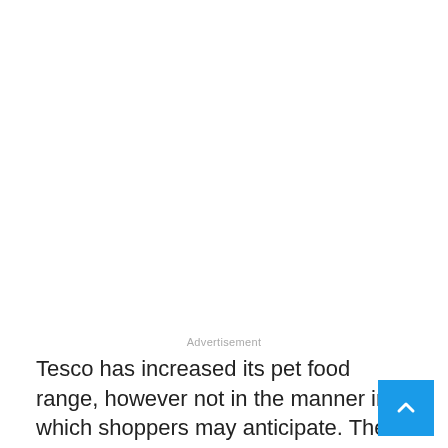Advertisement
Tesco has increased its pet food range, however not in the manner in which shoppers may anticipate. The UK's biggest grocery store cha has presented its first scope of vegan dog foo